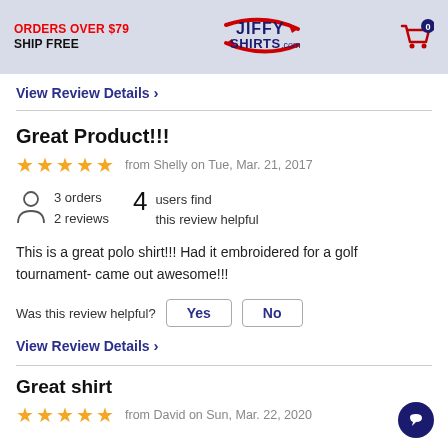ORDERS OVER $79 SHIP FREE | Jiffy Shirts .com | Cart 0
View Review Details >
Great Product!!!
★★★★★ from Shelly on Tue, Mar. 21, 2017
3 orders
2 reviews
4 users find this review helpful
This is a great polo shirt!!! Had it embroidered for a golf tournament- came out awesome!!!
Was this review helpful? Yes No
View Review Details >
Great shirt
★★★★★ from David on Sun, Mar. 22, 2020